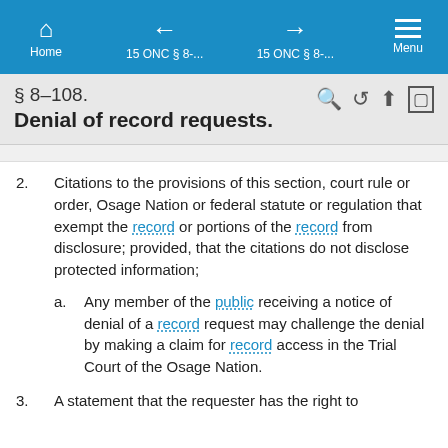Home | 15 ONC § 8-... | 15 ONC § 8-... | Menu
§ 8-108. Denial of record requests.
2. Citations to the provisions of this section, court rule or order, Osage Nation or federal statute or regulation that exempt the record or portions of the record from disclosure; provided, that the citations do not disclose protected information;
a. Any member of the public receiving a notice of denial of a record request may challenge the denial by making a claim for record access in the Trial Court of the Osage Nation.
3. A statement that the requester has the right to